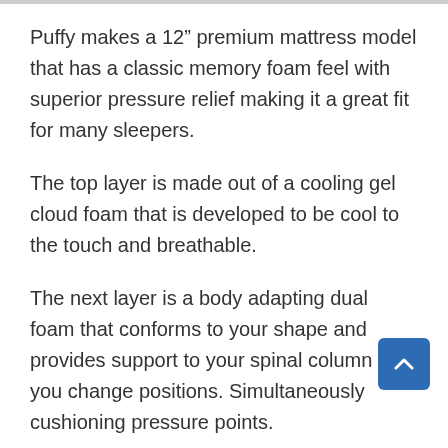Puffy makes a 12" premium mattress model that has a classic memory foam feel with superior pressure relief making it a great fit for many sleepers.
The top layer is made out of a cooling gel cloud foam that is developed to be cool to the touch and breathable.
The next layer is a body adapting dual foam that conforms to your shape and provides support to your spinal column as you change positions. Simultaneously cushioning pressure points.
Below that layer is a climate comfort foam that adds